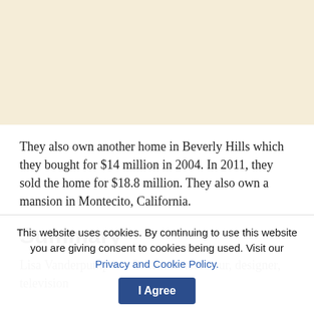[Figure (other): Beige/cream colored background area, likely a cropped image placeholder]
They also own another home in Beverly Hills which they bought for $14 million in 2004. In 2011, they sold the home for $18.8 million. They also own a mansion in Montecito, California.
Summary
Lisa Vanderpump is a British restaurateur, designer, television
This website uses cookies. By continuing to use this website you are giving consent to cookies being used. Visit our Privacy and Cookie Policy.